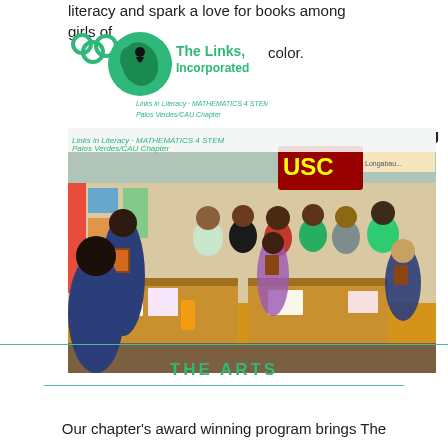literacy and spark a love for books among girls of color.
[Figure (logo): The Links, Incorporated logo — green globe with chain links and text]
MENU
[Figure (photo): Group photo of adult women and young girls sitting around classroom tables holding books, in a colorful classroom with USC banner visible. Caption overlay reads: Links in Literacy, MATHEMATICS 4 STEM, Palos Verdes/CAU Chapter]
THE ARTS
Our chapter's award winning program brings The